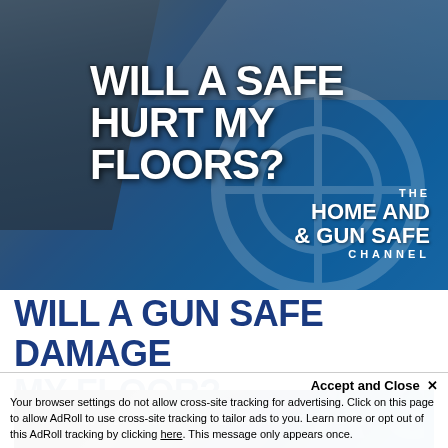[Figure (photo): Hero banner image with text overlay on blue gradient background showing floors/wood and a watermark logo. Text reads 'WILL A SAFE HURT MY FLOORS?' with 'THE HOME AND & GUN SAFE CHANNEL' branding.]
WILL A GUN SAFE DAMAGE MY FLOOR?
[Figure (screenshot): Partial second image/video thumbnail showing 'Will A Gun Safe Damage My F...' text overlay]
Accept and Close ×
Your browser settings do not allow cross-site tracking for advertising. Click on this page to allow AdRoll to use cross-site tracking to tailor ads to you. Learn more or opt out of this AdRoll tracking by clicking here. This message only appears once.